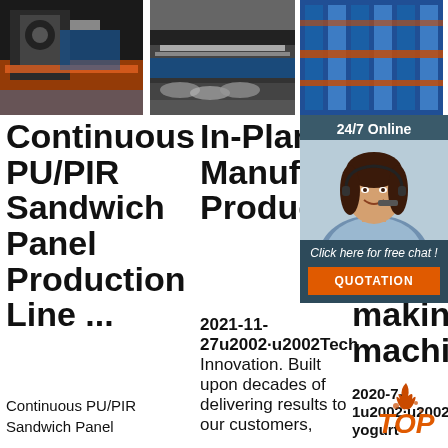[Figure (photo): Three industrial manufacturing machine photos in a row at the top: left shows dark industrial machinery with orange base, center shows flat pressing/rolling machine, right shows blue industrial rack equipment]
Continuous PU/PIR Sandwich Panel Production Line ...
Continuous PU/PIR Sandwich Panel
In-Plant Manufacturer Products
2021-11-27u2002·u2002Tech Innovation. Built upon decades of delivering results to our customers,
Yo pro making machine
2020-7-1u2002·u2002The yogurt
[Figure (photo): 24/7 Online chat widget showing a woman with headset and a QUOTATION button]
[Figure (logo): TOP badge with flame icon in orange/red]